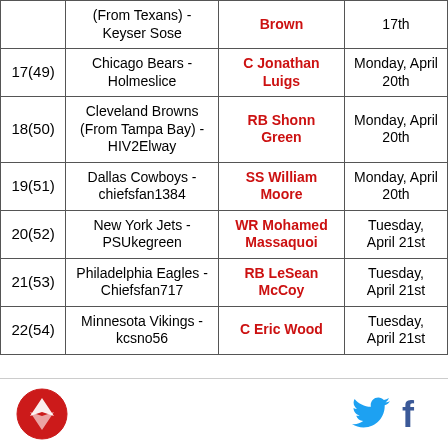| Pick | Team - User | Player | Date |
| --- | --- | --- | --- |
|  | (From Texans) - Keyser Sose | Brown | 17th |
| 17(49) | Chicago Bears - Holmeslice | C Jonathan Luigs | Monday, April 20th |
| 18(50) | Cleveland Browns (From Tampa Bay) - HIV2Elway | RB Shonn Green | Monday, April 20th |
| 19(51) | Dallas Cowboys - chiefsfan1384 | SS William Moore | Monday, April 20th |
| 20(52) | New York Jets - PSUkegreen | WR Mohamed Massaquoi | Tuesday, April 21st |
| 21(53) | Philadelphia Eagles - Chiefsfan717 | RB LeSean McCoy | Tuesday, April 21st |
| 22(54) | Minnesota Vikings - kcsno56 | C Eric Wood | Tuesday, April 21st |
Logo and social icons